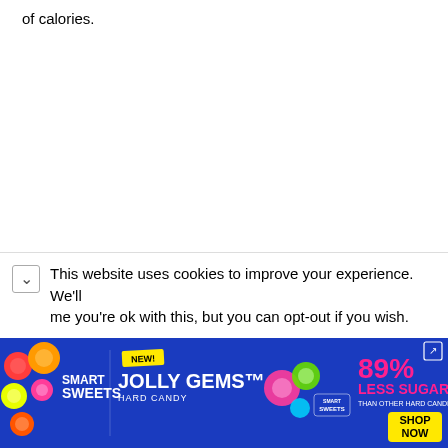of calories.
This website uses cookies to improve your experience. We'll assume you're ok with this, but you can opt-out if you wish.
[Figure (infographic): Smart Sweets advertisement banner promoting Jolly Gems Hard Candy with 89% less sugar than other hard candies. Blue background with colorful candy imagery. Includes yellow NEW badge, Shop Now button, and external link icon.]